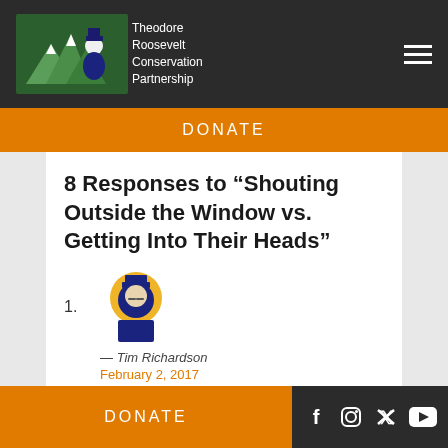Theodore Roosevelt Conservation Partnership
DONATE
8 Responses to “Shouting Outside the Window vs. Getting Into Their Heads”
1. — Tim Richardson, February 2, 2017
DONATE